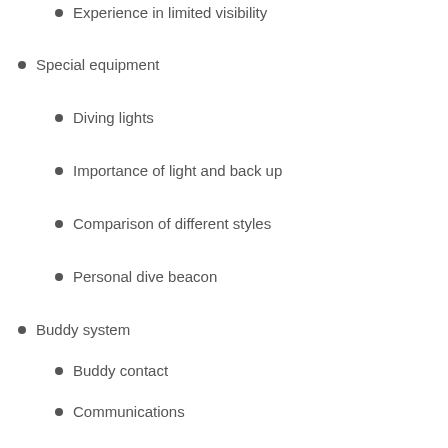Experience in limited visibility
Special equipment
Diving lights
Importance of light and back up
Comparison of different styles
Personal dive beacon
Buddy system
Buddy contact
Communications
Navigation
Bottom contour
Compass
Boat